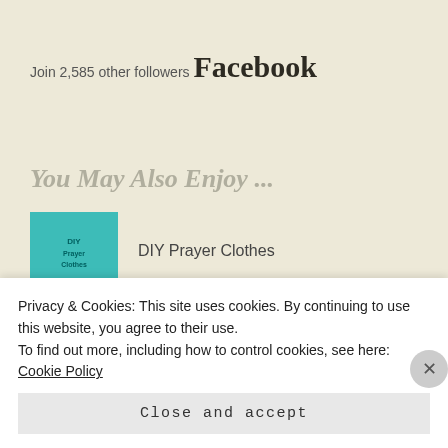Join 2,585 other followers
Facebook
You May Also Enjoy ...
[Figure (photo): Thumbnail image of teal/turquoise DIY Prayer Clothes shirt]
DIY Prayer Clothes
[Figure (logo): RE logo with pipe character in teal, orange bar at bottom]
An Invitation
Privacy & Cookies: This site uses cookies. By continuing to use this website, you agree to their use.
To find out more, including how to control cookies, see here: Cookie Policy
Close and accept